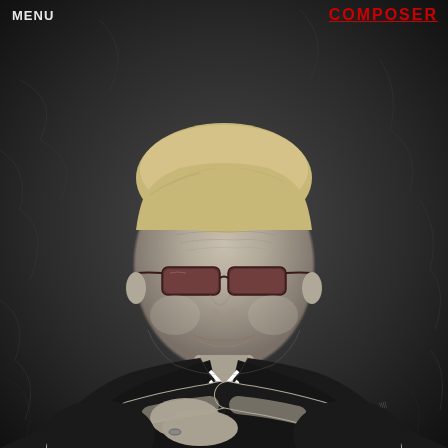MENU
COMPOSER
[Figure (photo): Black and white portrait photograph of a middle-aged man with blonde/light hair, wearing tinted rectangular sunglasses with reddish lenses, dressed in a black v-neck t-shirt with a white double-arrow down graphic on the chest. He has his arms crossed, wears a ring on one finger, and has a tattoo visible on his right forearm. He is smiling slightly. The background is dark grey textured fabric.]